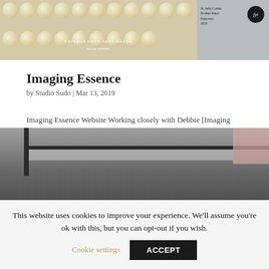[Figure (photo): Top cropped image showing buns/rolls on left side and a person on right side with an fyi badge]
Imaging Essence
by Studio Sudo | Mar 13, 2019
Imaging Essence Website Working closely with Debbie [Imaging Essence] over several years, we tackled many different projects together.  Thinking creatively to figure out exactly how to shoot 360-degree product shots; polishing beer bottle product images in Photoshop;...
[Figure (photo): Bottom cropped image showing dark shelving/display unit with a pink/skin-toned element at right]
This website uses cookies to improve your experience. We'll assume you're ok with this, but you can opt-out if you wish. Cookie settings ACCEPT